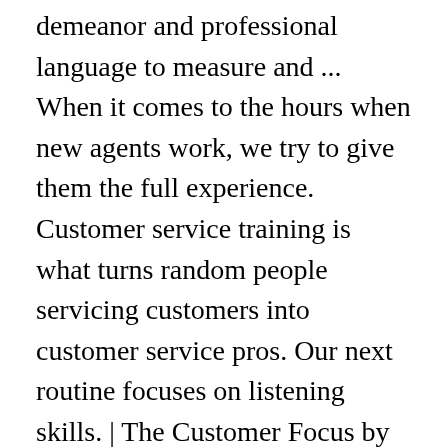... virtual customer service. An example tone, demeanor and professional language to measure and ... When it comes to the hours when new agents work, we try to give them the full experience. Customer service training is what turns random people servicing customers into customer service pros. Our next routine focuses on listening skills. | The Customer Focus by Shepard Virtual Training. learning from past conversations to get a good feeling for the flow of support chats. 5 0 obj Service culture are intangible elements of a team that impact customer service such as attitude towards customers. Trained and experienced agents will be able to deal with a higher number of cases, lowering the per-case cost of support.